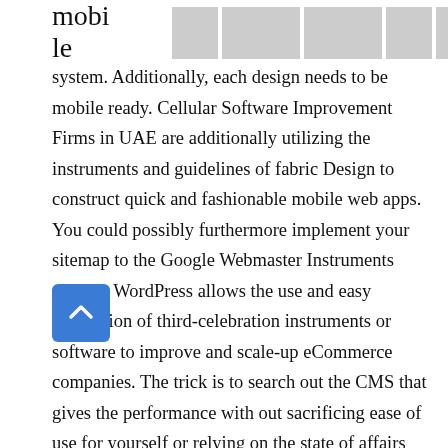[Figure (screenshot): Partial view of a mobile/ecommerce website screenshot showing product thumbnails and the word 'mobile' on the left side, with grey placeholder images on the right]
system. Additionally, each design needs to be mobile ready. Cellular Software Improvement Firms in UAE are additionally utilizing the instruments and guidelines of fabric Design to construct quick and fashionable mobile web apps. You could possibly furthermore implement your sitemap to the Google Webmaster Instruments section. WordPress allows the use and easy integration of third-celebration instruments or software to improve and scale-up eCommerce companies. The trick is to search out the CMS that gives the performance with out sacrificing ease of use for yourself or relying on the state of affairs your customer. Which CMS finest for your e-commerce webpage? How will AMP plugins profit your WordPress web site? Don't assume that just using an open source platform like best education wordpress templates you'll in a position to sell issues in a breeze. Huge Commerce boasts over 20,000